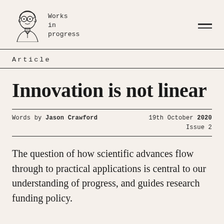Works in progress
Article
Innovation is not linear
Words by Jason Crawford   19th October 2020   Issue 2
The question of how scientific advances flow through to practical applications is central to our understanding of progress, and guides research funding policy.